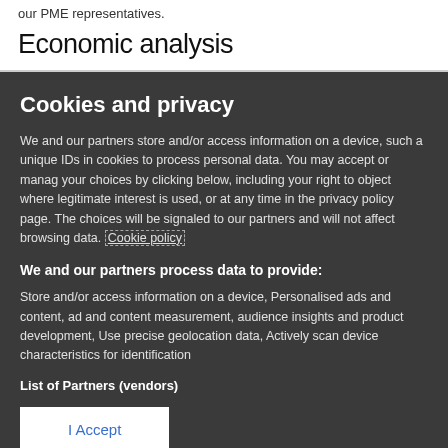our PME representatives.
Economic analysis
Cookies and privacy
We and our partners store and/or access information on a device, such a unique IDs in cookies to process personal data. You may accept or manage your choices by clicking below, including your right to object where legitimate interest is used, or at any time in the privacy policy page. These choices will be signaled to our partners and will not affect browsing data. Cookie policy
We and our partners process data to provide:
Store and/or access information on a device, Personalised ads and content, ad and content measurement, audience insights and product development, Use precise geolocation data, Actively scan device characteristics for identification
List of Partners (vendors)
I Accept